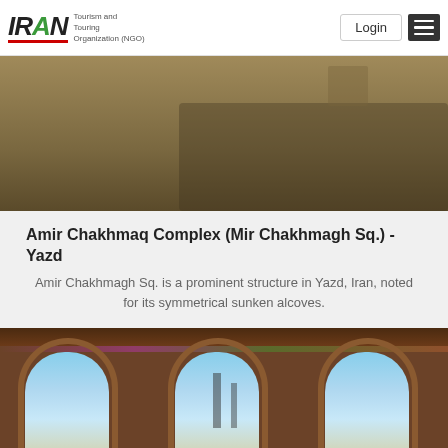IRAN Tourism and Touring Organization (NGO) | Login
[Figure (photo): Partial view of blurred interior of Amir Chakhmaq Complex, warm golden/brown tones]
Amir Chakhmaq Complex (Mir Chakhmagh Sq.) - Yazd
Amir Chakhmagh Sq. is a prominent structure in Yazd, Iran, noted for its symmetrical sunken alcoves.
[Figure (photo): View through three large pointed arched windows of the Amir Chakhmaq Complex, looking out at Yazd cityscape with minarets visible against blue sky]